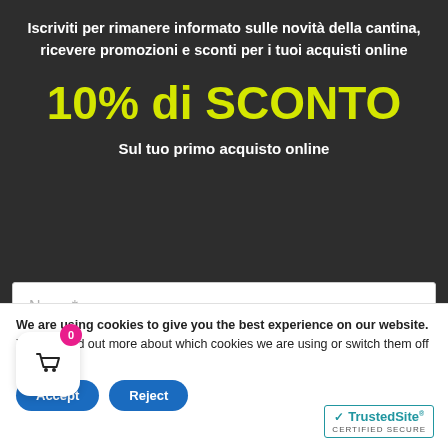Iscriviti per rimanere informato sulle novità della cantina, ricevere promozioni e sconti per i tuoi acquisti online
10% di SCONTO
Sul tuo primo acquisto online
Nome*
We are using cookies to give you the best experience on our website.
You can find out more about which cookies we are using or switch them off in settings.
Accept
Reject
[Figure (logo): TrustedSite CERTIFIED SECURE badge with teal checkmark and border]